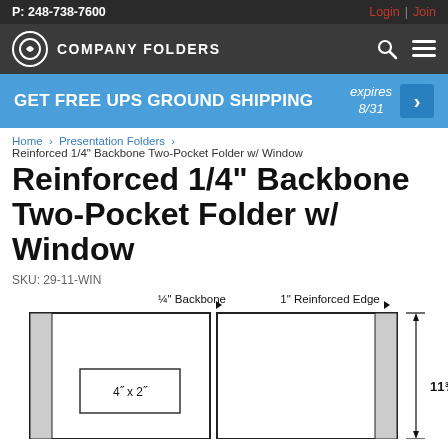P: 248-738-7600
Login | Join
COMPANY FOLDERS
GET FREE UPS GROUND SHIPPING  expires 8/31
Home > Presentation Folders > Reinforced 1/4" Backbone Two-Pocket Folder w/ Window
Reinforced 1/4" Backbone Two-Pocket Folder w/ Window
SKU: 29-11-WIN
[Figure (engineering-diagram): Technical diagram of Reinforced 1/4" Backbone Two-Pocket Folder w/ Window, showing the folder layout with labels: 1/4" Backbone (center spine area, dotted line), 1" Reinforced Edge (right edge), window cutout on left panel labeled 4" x 2", and dimension 11 3/4" on the right side.]